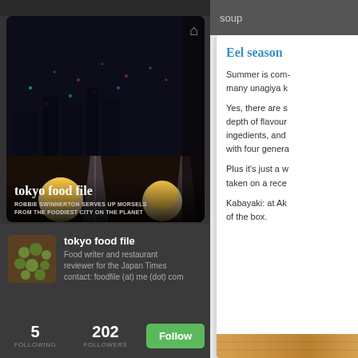[Figure (photo): Banner photo showing Tokyo nighttime cityscape with champagne flutes and candles, with blog header 'tokyo food file' and subtitle 'ROBBIE SWINNERTON SERVES UP MORSELS FROM THE FOODIEST CITY ON THE PLANET']
tokyo food file
ROBBIE SWINNERTON SERVES UP MORSELS FROM THE FOODIEST CITY ON THE PLANET
[Figure (photo): Small thumbnail image of green round vegetables/food items in a bowl]
tokyo food file
Food writer and restaurant reviewer for the Japan Times contact: foodfile (at) me (dot) com
5
FOLLOWING
202
FOLLOWERS
Follow
soup
Eel season
Summer is com- many unagiya k
Yes, there are s depth of flavour ingedients, and with four genera
Plus it's just a w taken on a rece
Kabayaki: at Ak of the box.